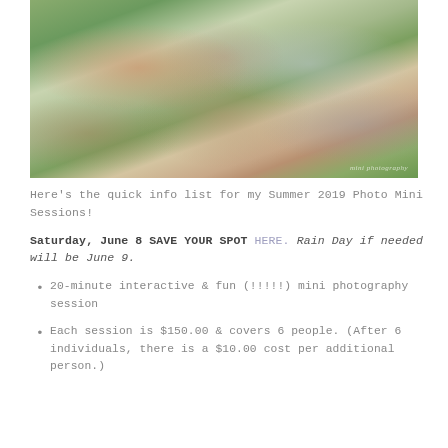[Figure (photo): Family photo of two parents and three young children sitting on grass in a garden setting with flowers and greenery in background. Watermark reads 'mini photography' in bottom right corner.]
Here's the quick info list for my Summer 2019 Photo Mini Sessions!
Saturday, June 8 SAVE YOUR SPOT HERE. Rain Day if needed will be June 9.
20-minute interactive & fun (!!!!!) mini photography session
Each session is $150.00 & covers 6 people. (After 6 individuals, there is a $10.00 cost per additional person.)